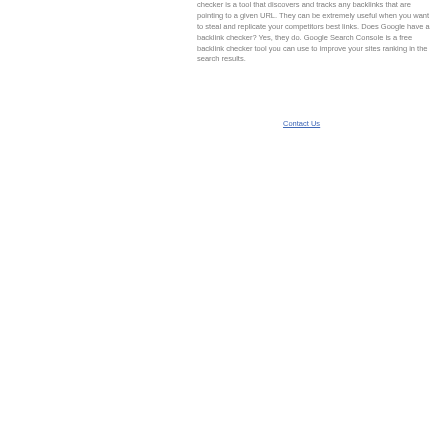checker is a tool that discovers and tracks any backlinks that are pointing to a given URL. They can be extremely useful when you want to steal and replicate your competitors best links. Does Google have a backlink checker? Yes, they do. Google Search Console is a free backlink checker tool you can use to improve your sites ranking in the search results.
Contact Us